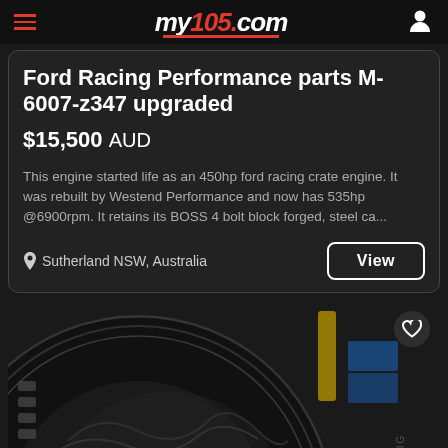my105.com
Ford Racing Performance parts M-6007-z347 upgraded
$15,500 AUD
This engine started life as an 450hp ford racing crate engine. It was rebuilt by Westend Performance and now has 535hp @6900rpm. It retains its BOSS 4 bolt block forged, steel ca...
Sutherland NSW, Australia
[Figure (photo): Close-up photo of a large black performance tyre/tire, showing the tread and sidewall, with a yellow post and blue boxes visible in the background]
Refine Search
Top & Most Recent